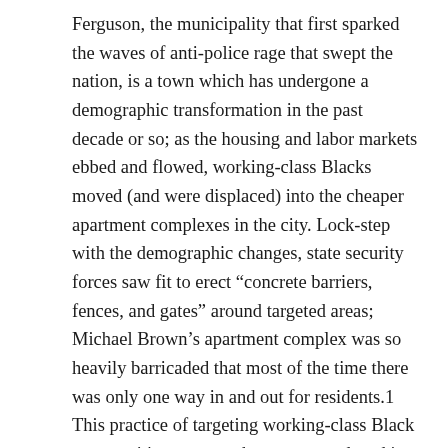Ferguson, the municipality that first sparked the waves of anti-police rage that swept the nation, is a town which has undergone a demographic transformation in the past decade or so; as the housing and labor markets ebbed and flowed, working-class Blacks moved (and were displaced) into the cheaper apartment complexes in the city. Lock-step with the demographic changes, state security forces saw fit to erect “concrete barriers, fences, and gates” around targeted areas; Michael Brown’s apartment complex was so heavily barricaded that most of the time there was only one way in and out for residents.1 This practice of targeting working-class Black communities was one that was reproduced in municipalities across St. Louis County, and one that occasionally went too far even in the eyes of local state leadership. Take Darren Wilson’s employment history, for example: previous to his position with the Ferguson Police Department, he was an officer with the Jennings